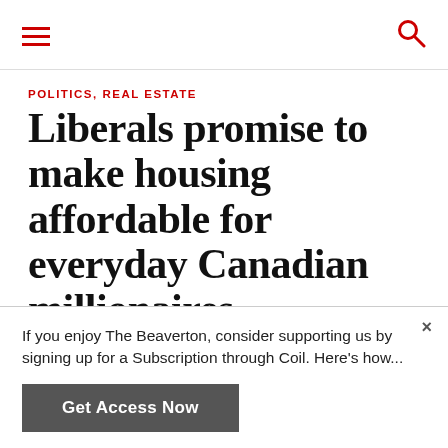POLITICS, REAL ESTATE
Liberals promise to make housing affordable for everyday Canadian millionaires
AUGUST 25, 2021 by MARK HILL | @MEHIL |
If you enjoy The Beaverton, consider supporting us by signing up for a Subscription through Coil. Here's how...
Get Access Now